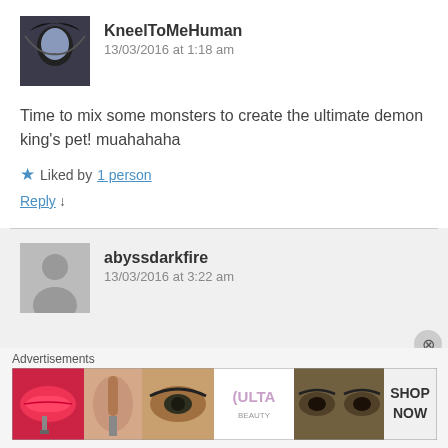[Figure (photo): Avatar image of KneelToMeHuman, a dark-haired anime character]
KneelToMeHuman
13/03/2016 at 1:18 am
Time to mix some monsters to create the ultimate demon king's pet! muahahaha
★ Liked by 1 person
Reply ↓
[Figure (illustration): Generic grey person silhouette placeholder avatar]
abyssdarkfire
13/03/2016 at 3:22 am
Advertisements
[Figure (photo): ULTA Beauty advertisement banner showing lips, brush, eyes, ULTA logo, and SHOP NOW text]